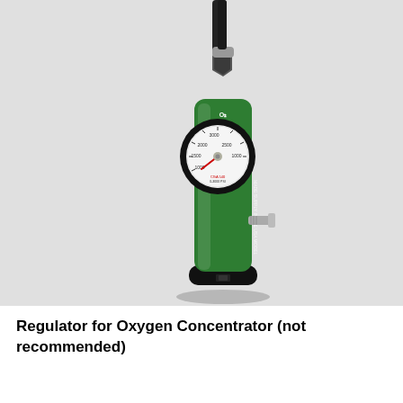[Figure (photo): Photograph of a green oxygen regulator with a pressure gauge and chrome connector fitting, mounted on a black base, shown against a light gray background.]
Regulator for Oxygen Concentrator (not recommended)